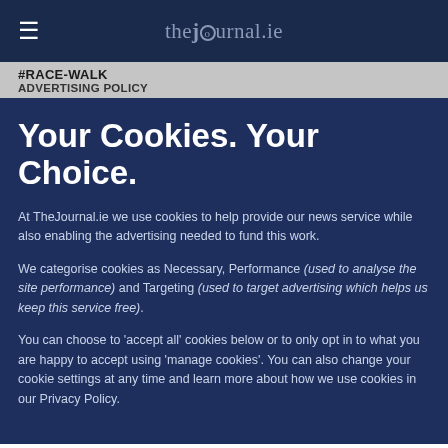≡  thejournal.ie
#RACE-WALK
ADVERTISING POLICY
Your Cookies. Your Choice.
At TheJournal.ie we use cookies to help provide our news service while also enabling the advertising needed to fund this work.
We categorise cookies as Necessary, Performance (used to analyse the site performance) and Targeting (used to target advertising which helps us keep this service free).
You can choose to 'accept all' cookies below or to only opt in to what you are happy to accept using 'manage cookies'. You can also change your cookie settings at any time and learn more about how we use cookies in our Privacy Policy.